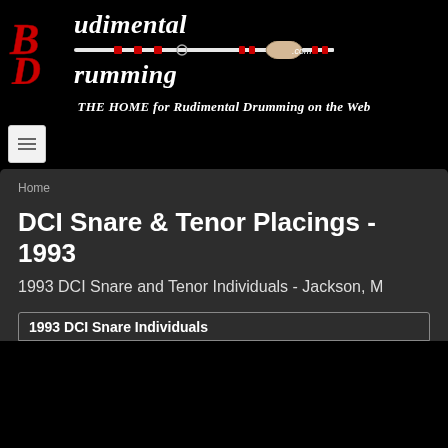[Figure (logo): Rudimental Drumming .com logo with red stylized BD letters and white italic script text on black background with drumstick graphic]
THE HOME for Rudimental Drumming on the Web
Home
DCI Snare & Tenor Placings - 1993
1993 DCI Snare and Tenor Individuals - Jackson, M
1993 DCI Snare Individuals